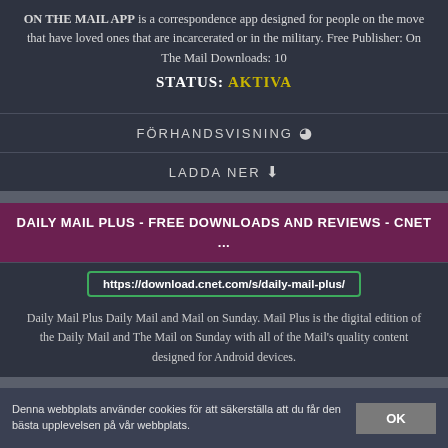ON THE MAIL APP is a correspondence app designed for people on the move that have loved ones that are incarcerated or in the military. Free Publisher: On The Mail Downloads: 10
STATUS: AKTIVA
FÖRHANDSVISNING 👁
LADDA NER ⬇
DAILY MAIL PLUS - FREE DOWNLOADS AND REVIEWS - CNET ...
https://download.cnet.com/s/daily-mail-plus/
Daily Mail Plus Daily Mail and Mail on Sunday. Mail Plus is the digital edition of the Daily Mail and The Mail on Sunday with all of the Mail's quality content designed for Android devices.
Denna webbplats använder cookies för att säkerställa att du får den bästa upplevelsen på vår webbplats.